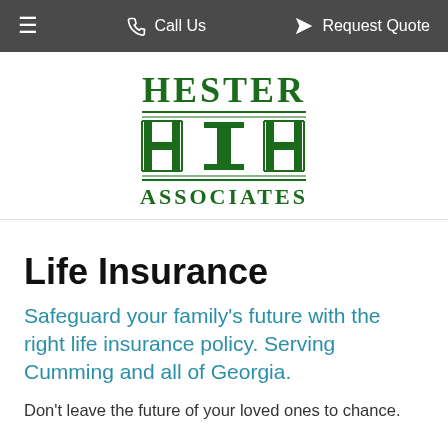≡   Call Us   ✈ Request Quote
[Figure (logo): Hester H&H Associates logo in dark green with decorative H letterforms and horizontal rules]
Life Insurance
Safeguard your family's future with the right life insurance policy. Serving Cumming and all of Georgia.
Don't leave the future of your loved ones to chance.